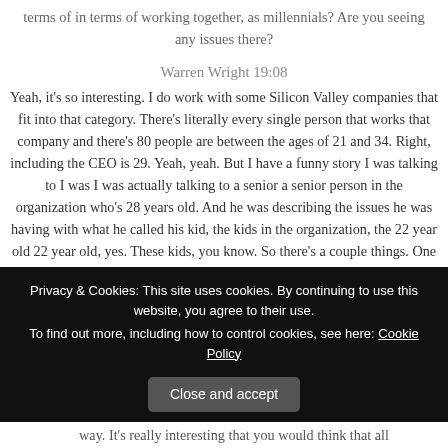terms of in terms of working together, as millennials? Are you seeing any issues there?
Warren Wright 19:08
Yeah, it’s so interesting. I do work with some Silicon Valley companies that fit into that category. There’s literally every single person that works that company and there’s 80 people are between the ages of 21 and 34. Right, including the CEO is 29. Yeah, yeah. But I have a funny story I was talking to I was I was actually talking to a senior a senior person in the organization who’s 28 years old. And he was describing the issues he was having with what he called his kid, the kids in the organization, the 22 year old 22 year old, yes. These kids, you know. So there’s a couple things. One thing to realize is, you know, generations really is a thing, even within generations and so there tends to be a And this is very universal. All the research suggests this
Privacy & Cookies: This site uses cookies. By continuing to use this website, you agree to their use.
To find out more, including how to control cookies, see here: Cookie Policy
Close and accept
way. It’s really interesting that you would think that all